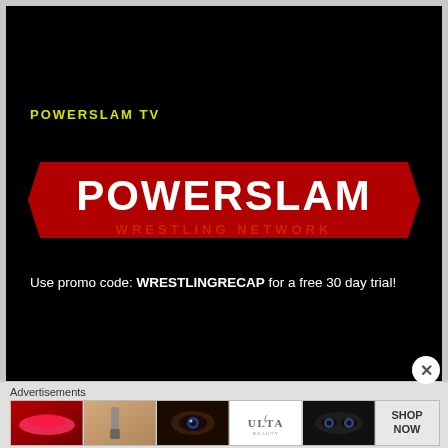[Figure (logo): Powerslam TV promotional video screenshot on black background with POWERSLAM TV label in yellow-green and Powerslam Wrestling Network logo in red and white]
POWERSLAM TV
Use promo code: WRESTLINGRECAP for a free 30 day trial!
Advertisements
[Figure (illustration): Advertisement banner strip showing makeup/beauty ads including lips with brush, eye with brush, eye close-up, ULTA Beauty logo, eyes close-up, and SHOP NOW text]